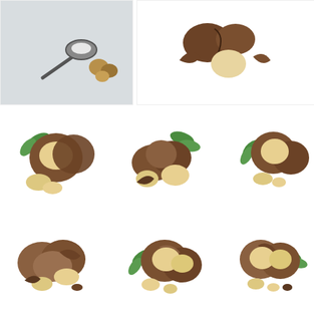[Figure (photo): Macadamia nuts with a small measuring spoon on a light blue/grey surface, showing whole shelled nuts]
[Figure (photo): Macadamia nuts partially shelled on white background, showing cracked shells and nut pieces]
[Figure (photo): Macadamia nuts with green leaves, cracked open shells showing cream-colored nut, on white background]
[Figure (photo): Pile of macadamia nuts with green leaves, cracked open showing interior, on white background]
[Figure (photo): Macadamia nuts with small green leaves on white background, some cracked open]
[Figure (photo): Macadamia nuts cracked open with shell fragments on white background]
[Figure (photo): Macadamia nuts with green herb leaves, cracked open showing interiors and nut pieces]
[Figure (photo): Macadamia nuts with green leaves, some cracked open on white background]
[Figure (photo): Macadamia nuts cracked open with green leaves and shell pieces on white background]
[Figure (photo): Macadamia nuts with green leaves, cracked open showing cream interior on white background]
[Figure (photo): Macadamia nut cracked open with green leaves on white background, showing large cream nut]
[Figure (photo): Two macadamia nuts whole and cracked with green leaves on white background]